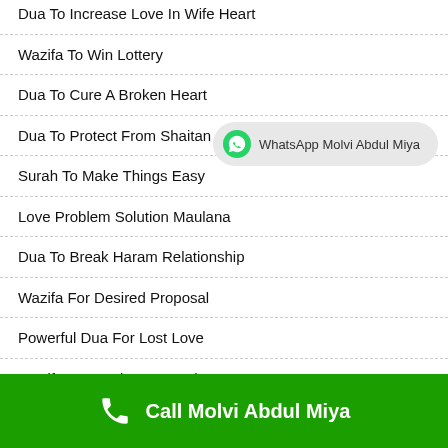Dua To Increase Love In Wife Heart
Wazifa To Win Lottery
Dua To Cure A Broken Heart
Dua To Protect From Shaitan
Surah To Make Things Easy
Love Problem Solution Maulana
Dua To Break Haram Relationship
Wazifa For Desired Proposal
Powerful Dua For Lost Love
Wazifa For Business Development
Amal E Hamzad
Ruqyah For Marriage Problems
[Figure (infographic): WhatsApp button badge with green WhatsApp icon and text 'WhatsApp Molvi Abdul Miya' on grey rounded background]
Call Molvi Abdul Miya